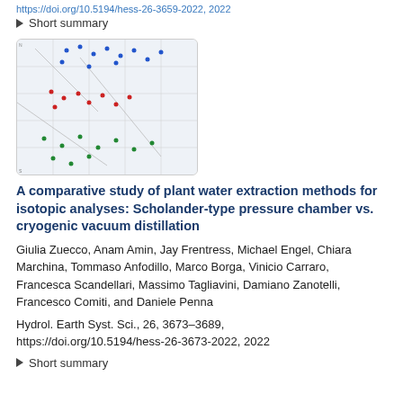https://doi.org/10.5194/hess-26-3659-2022, 2022
▶ Short summary
[Figure (map): A scatter map showing colored data points (blue, red, green) on a geographic map with grid lines and labels]
A comparative study of plant water extraction methods for isotopic analyses: Scholander-type pressure chamber vs. cryogenic vacuum distillation
Giulia Zuecco, Anam Amin, Jay Frentress, Michael Engel, Chiara Marchina, Tommaso Anfodillo, Marco Borga, Vinicio Carraro, Francesca Scandellari, Massimo Tagliavini, Damiano Zanotelli, Francesco Comiti, and Daniele Penna
Hydrol. Earth Syst. Sci., 26, 3673–3689, https://doi.org/10.5194/hess-26-3673-2022, 2022
▶ Short summary